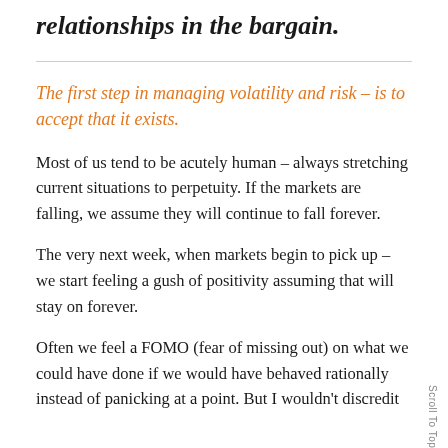relationships in the bargain.
The first step in managing volatility and risk – is to accept that it exists.
Most of us tend to be acutely human – always stretching current situations to perpetuity. If the markets are falling, we assume they will continue to fall forever.
The very next week, when markets begin to pick up – we start feeling a gush of positivity assuming that will stay on forever.
Often we feel a FOMO (fear of missing out) on what we could have done if we would have behaved rationally instead of panicking at a point. But I wouldn't discredit